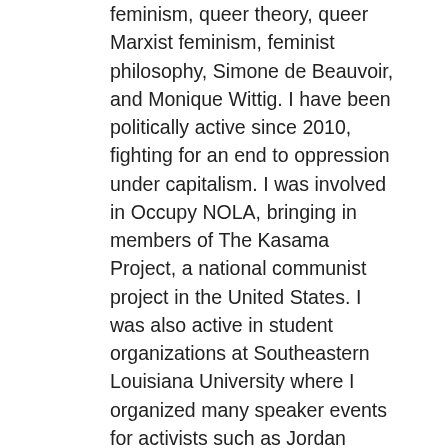feminism, queer theory, queer Marxist feminism, feminist philosophy, Simone de Beauvoir, and Monique Wittig. I have been politically active since 2010, fighting for an end to oppression under capitalism. I was involved in Occupy NOLA, bringing in members of The Kasama Project, a national communist project in the United States. I was also active in student organizations at Southeastern Louisiana University where I organized many speaker events for activists such as Jordan Flaherty, Richard Becker, The Beehive Design Collective, Jed Brandt and Eric Ribellarsi, and Malik Rahim. More recently, I began volunteering for STAR, Sexual Trauma Awareness & Response, in 2013 as a hospital advocate where I supported sexual assault survivors. I later joined the Louisiana Delta